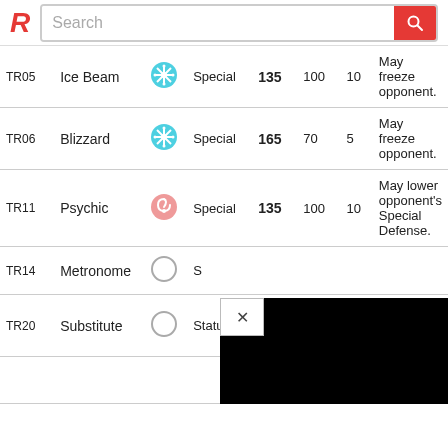R Search
| Code | Name | Type | Category | Power | Acc | PP | Description |
| --- | --- | --- | --- | --- | --- | --- | --- |
| TR05 | Ice Beam | Ice | Special | 135 | 100 | 10 | May freeze opponent. |
| TR06 | Blizzard | Ice | Special | 165 | 70 | 5 | May freeze opponent. |
| TR11 | Psychic | Psychic | Special | 135 | 100 | 10 | May lower opponent's Special Defense. |
| TR14 | Metronome | Normal | Status |  |  |  |  |
| TR20 | Substitute | Normal | Status |  |  | 10 | Creates a decoy that takes hits. |
|  |  |  |  |  |  |  | Inflicts damage |